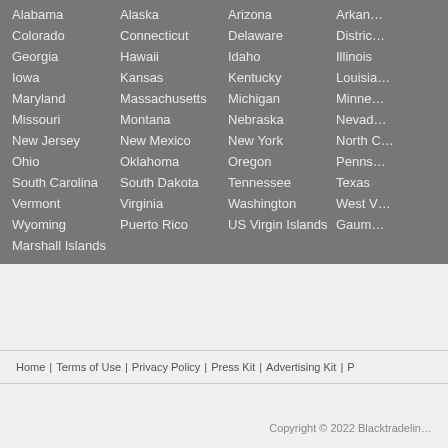Alabama, Alaska, Arizona, Arkansas, Colorado, Connecticut, Delaware, District, Georgia, Hawaii, Idaho, Illinois, Iowa, Kansas, Kentucky, Louisiana, Maryland, Massachusetts, Michigan, Minnesota, Missouri, Montana, Nebraska, Nevada, New Jersey, New Mexico, New York, North C, Ohio, Oklahoma, Oregon, Pennsylvania, South Carolina, South Dakota, Tennessee, Texas, Vermont, Virginia, Washington, West V, Wyoming, Puerto Rico, US Virgin Islands, Guam, Marshall Islands
Home | Terms of Use | Privacy Policy | Press Kit | Advertising Kit | P
Copyright © 2022 Blacktradelin